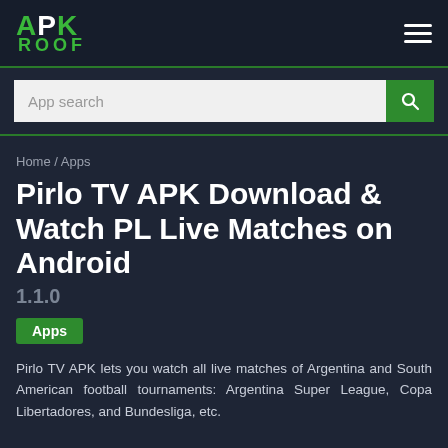APK ROOF
App search
Home / Apps
Pirlo TV APK Download & Watch PL Live Matches on Android
1.1.0
Apps
Pirlo TV APK lets you watch all live matches of Argentina and South American football tournaments: Argentina Super League, Copa Libertadores, and Bundesliga, etc.